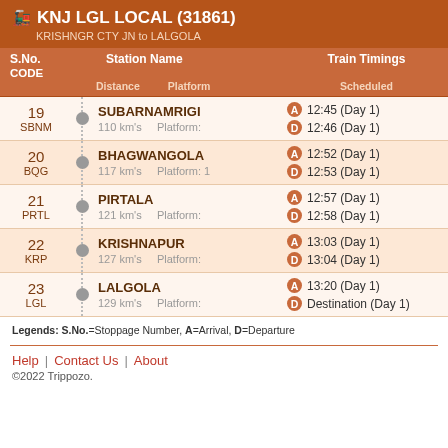🚂 KNJ LGL LOCAL (31861) — KRISHNGR CTY JN to LALGOLA
| S.No. / CODE | Station Name / Distance / Platform | Train Timings Scheduled (A/D) |
| --- | --- | --- |
| 19 SBNM | SUBARNAMRIGI 110 km's Platform: | A 12:45 (Day 1) D 12:46 (Day 1) |
| 20 BQG | BHAGWANGOLA 117 km's Platform: 1 | A 12:52 (Day 1) D 12:53 (Day 1) |
| 21 PRTL | PIRTALA 121 km's Platform: | A 12:57 (Day 1) D 12:58 (Day 1) |
| 22 KRP | KRISHNAPUR 127 km's Platform: | A 13:03 (Day 1) D 13:04 (Day 1) |
| 23 LGL | LALGOLA 129 km's Platform: | A 13:20 (Day 1) D Destination (Day 1) |
Legends: S.No.=Stoppage Number, A=Arrival, D=Departure
Help | Contact Us | About ©2022 Trippozo.